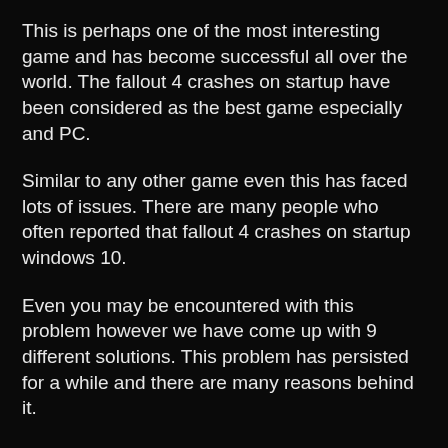This is perhaps one of the most interesting game and has become successful all over the world. The fallout 4 crashes on startup have been considered as the best game especially and PC.
Similar to any other game even this has faced lots of issues. There are many people who often reported that fallout 4 crashes on startup windows 10.
Even you may be encountered with this problem however we have come up with 9 different solutions. This problem has persisted for a while and there are many reasons behind it.
However, it is highly recommended to troubleshoot the issue thereby following any of the ways are given here.
1. By modifying the video settings of your